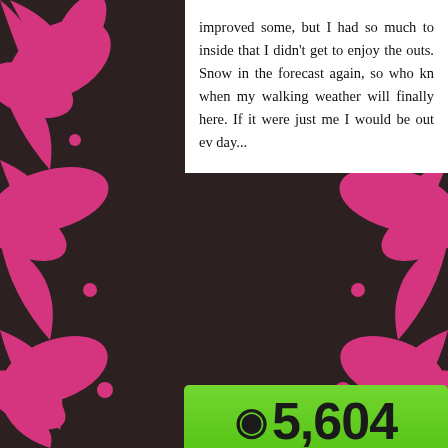[Figure (illustration): Dark background with pink decorative floral/damask pattern on left and right sides]
improved some, but I had so much to inside that I didn't get to enjoy the outs. Snow in the forecast again, so who kn when my walking weather will finally here. If it were just me I would be out ev day...
[Figure (screenshot): Fitness tracker screenshot showing 5,604 steps taken on green bar, 2.2 miles walked on purple bar, and 743 on gold bar with flame icon]